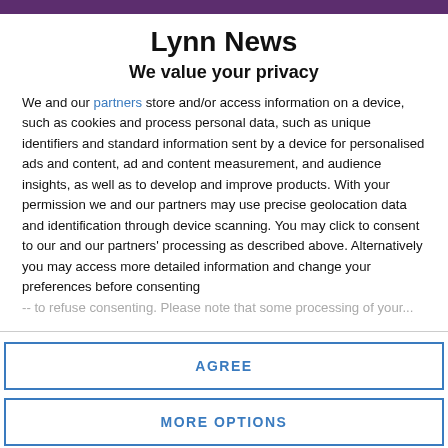Lynn News
We value your privacy
We and our partners store and/or access information on a device, such as cookies and process personal data, such as unique identifiers and standard information sent by a device for personalised ads and content, ad and content measurement, and audience insights, as well as to develop and improve products. With your permission we and our partners may use precise geolocation data and identification through device scanning. You may click to consent to our and our partners' processing as described above. Alternatively you may access more detailed information and change your preferences before consenting or to refuse consenting. Please note that some processing of your...
AGREE
MORE OPTIONS
But is now the optimum time to join this plug in...